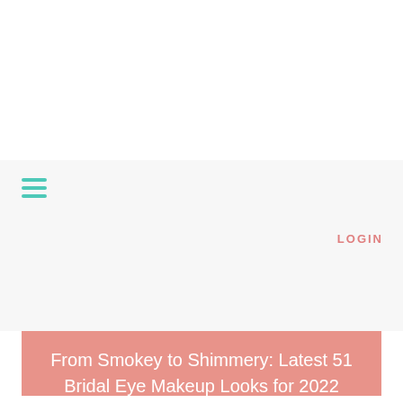[Figure (other): Hamburger menu icon made of three teal/turquoise horizontal lines]
LOGIN
From Smokey to Shimmery: Latest 51 Bridal Eye Makeup Looks for 2022 Indian Brides